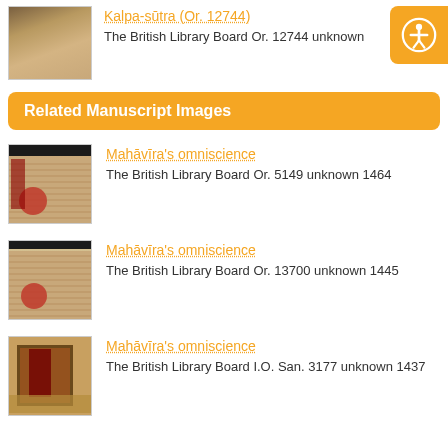[Figure (photo): Thumbnail of Kalpa-sutra manuscript Or. 12744]
Kalpa-sūtra (Or. 12744)
The British Library Board Or. 12744 unknown
Related Manuscript Images
[Figure (photo): Thumbnail of Mahāvīra's omniscience manuscript Or. 5149]
Mahāvīra's omniscience
The British Library Board Or. 5149 unknown 1464
[Figure (photo): Thumbnail of Mahāvīra's omniscience manuscript Or. 13700]
Mahāvīra's omniscience
The British Library Board Or. 13700 unknown 1445
[Figure (photo): Thumbnail of Mahāvīra's omniscience manuscript I.O. San. 3177]
Mahāvīra's omniscience
The British Library Board I.O. San. 3177 unknown 1437